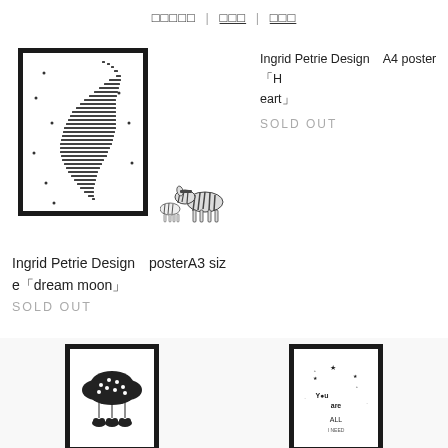□□□□□ | □□□ | □□□
[Figure (photo): Framed poster with moon made of typographic characters, with a small zebra figurine beside it]
Ingrid Petrie Design　A4 poster「Heart」
SOLD OUT
Ingrid Petrie Design　posterA3 size「dream moon」
SOLD OUT
[Figure (photo): Framed black and white poster with cloud and balloon illustration]
[Figure (photo): Framed black and white poster with star/constellation illustration and text]